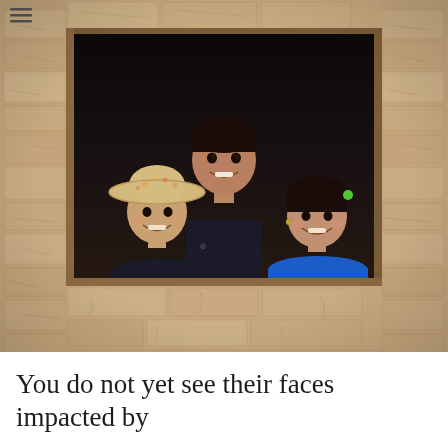[Figure (photo): Three children smiling and looking out of a window opening in a cracked adobe/mud brick wall. One child in the back center wears a dark t-shirt. Front left child wears a sun hat and dark shirt. Front right child wears a blue Mickey Mouse t-shirt and has a green hair tie. The wall below the window is rough cracked mud brick.]
You do not yet see their faces impacted by